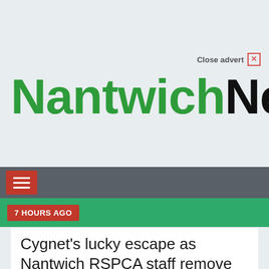Close advert ✕
NantwichNews
[Figure (other): Navigation bar with hamburger menu button (red background with three white lines) on a dark grey bar]
7 HOURS AGO
Cygnet's lucky escape as Nantwich RSPCA staff remove 7cm hook